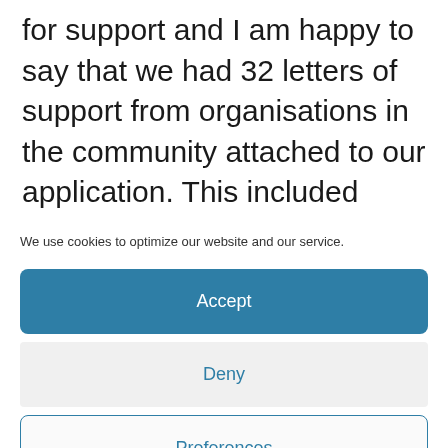for support and I am happy to say that we had 32 letters of support from organisations in the community attached to our application. This included support from schools, the church, sporting organisations, farming organisations and other organisations.
We use cookies to optimize our website and our service.
Accept
Deny
Preferences
Cookie Policy  Privacy Statement